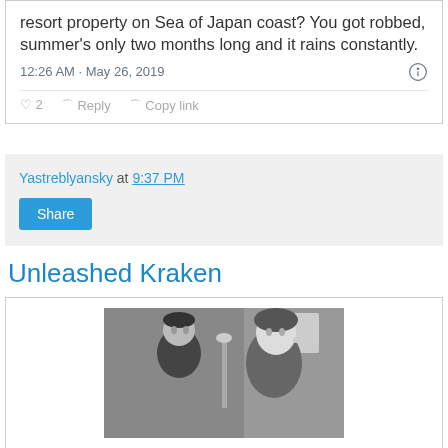resort property on Sea of Japan coast? You got robbed, summer's only two months long and it rains constantly.
12:26 AM · May 26, 2019
Yastreblyansky at 9:37 PM
Share
Unleashed Kraken
[Figure (photo): Black and white film still showing a man and woman in close conversation, appearing to be from a classic Hollywood movie.]